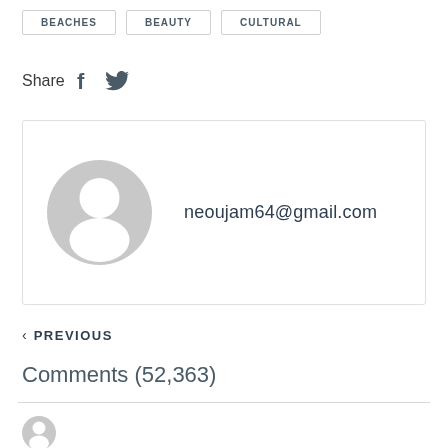BEACHES
BEAUTY
CULTURAL
Share
[Figure (other): User profile avatar placeholder (grey circle silhouette) with email neoujam64@gmail.com]
< PREVIOUS
Comments (52,363)